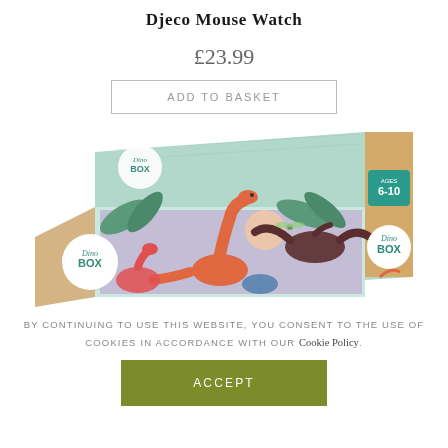Djeco Mouse Watch
£23.99
Add to basket
[Figure (photo): Product photo of a Djeco 'Dino Box' toy set box featuring illustrated dinosaurs on a teal/green and kraft brown background. The box shows dinosaurs including a long-neck dinosaur, pterodactyl, and others in a jungle setting. A circular logo reads 'Dino Box' and an age label shows '6-10'.]
By continuing to use this website, you consent to the use of cookies in accordance with our Cookie Policy.
Accept